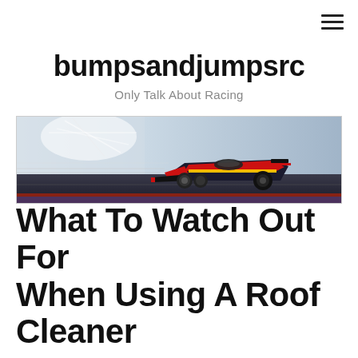bumpsandjumpsrc
Only Talk About Racing
[Figure (photo): A Red Bull Formula 1 racing car speeding on a race track with motion blur and sparks in the background]
What To Watch Out For When Using A Roof Cleaner